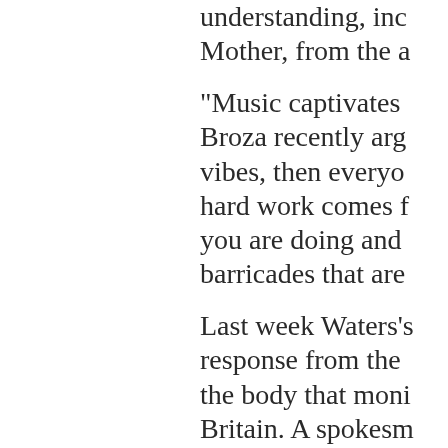understanding, inc Mother, from the a
"Music captivates Broza recently arg vibes, then everyo hard work comes f you are doing and barricades that are
Last week Waters's response from the the body that moni Britain. A spokesm Chronicle that Wat language of antise musician was "livi who pursue extrem into antisemitic sta